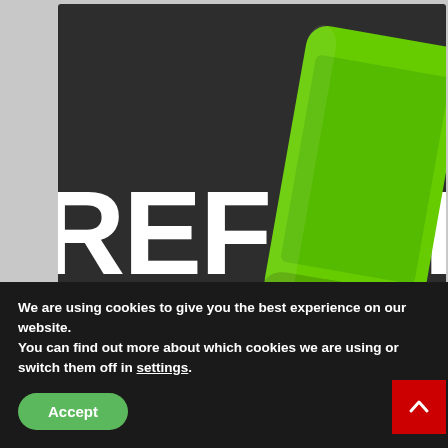[Figure (illustration): Dark background with a large green smartphone/phone graphic tilted slightly right. Bold white text 'REFSPECT' in large letters behind/over the phone. Below that in white bold text: 'NATIONAL AWARD'. A red square with a camera icon is in the lower left of the image area.]
PODCAST
We are using cookies to give you the best experience on our website.
You can find out more about which cookies we are using or switch them off in settings.
Accept